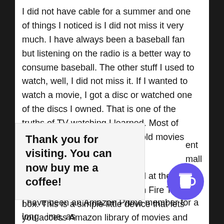I did not have cable for a summer and one of things I noticed is I did not miss it very much. I have always been a baseball fan but listening on the radio is a better way to consume baseball. The other stuff I used to watch, well, I did not miss it. If I wanted to watch a movie, I got a disc or watched one of the discs I owned. That is one of the truths of TV watching I learned. Most of what we watch is re-runs and old movies that we have already watched.
With that in mind, I cut the cord at the same time I bought an Amazon Fire TV box. This is a simple little device that lets you access Amazon library of movies and TV shows, over the internet. It plugs into your TV via an HDMI cable and connects to the internet over your wireless. You can also connect it with an Ethernet cable. It also has a simple browser so you can access video on the web, like
Thank you for visiting. You can now buy me a coffee!
[Figure (illustration): Purple/blue circular coffee cup button icon]
I have been an Amazon Prime member for a long time, as